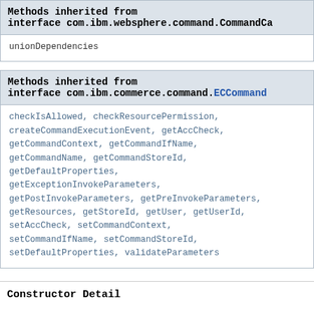Methods inherited from interface com.ibm.websphere.command.CommandCa
unionDependencies
Methods inherited from interface com.ibm.commerce.command.ECCommand
checkIsAllowed, checkResourcePermission, createCommandExecutionEvent, getAccCheck, getCommandContext, getCommandIfName, getCommandName, getCommandStoreId, getDefaultProperties, getExceptionInvokeParameters, getPostInvokeParameters, getPreInvokeParameters, getResources, getStoreId, getUser, getUserId, setAccCheck, setCommandContext, setCommandIfName, setCommandStoreId, setDefaultProperties, validateParameters
Constructor Detail